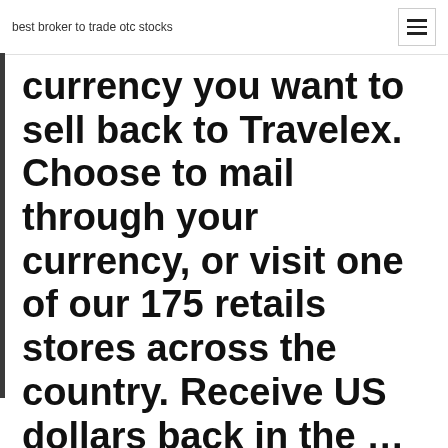best broker to trade otc stocks
currency you want to sell back to Travelex. Choose to mail through your currency, or visit one of our 175 retails stores across the country. Receive US dollars back in the ...
Why do we have to buy each others currencies in markets? What's the whole purpose of buying currency? For example, why would a person in the US want to   The big boys also try to earn profits via speculation, buying (selling) a currency when it